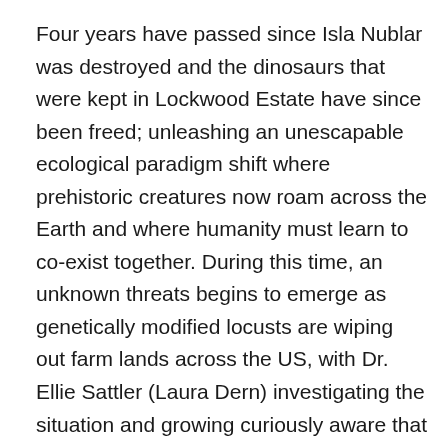Four years have passed since Isla Nublar was destroyed and the dinosaurs that were kept in Lockwood Estate have since been freed; unleashing an unescapable ecological paradigm shift where prehistoric creatures now roam across the Earth and where humanity must learn to co-exist together. During this time, an unknown threats begins to emerge as genetically modified locusts are wiping out farm lands across the US, with Dr. Ellie Sattler (Laura Dern) investigating the situation and growing curiously aware that all signs point to Biosyn Genetics, the leading genetic company and who is run by Dr. Lewis Dodgson (Campbell Scott). Elle turns to Dr. Alan Grant (Sam Neill) for help, with old pair making the journey to Italy to visit Biosyn's facilities, while also reuniting with theorist lecturer Dr. Ian Malcolm (Jeff Goldblum) who's appearance at Biosyn drums up more mystery. Meanwhile, in California, Owen Grady (Chris